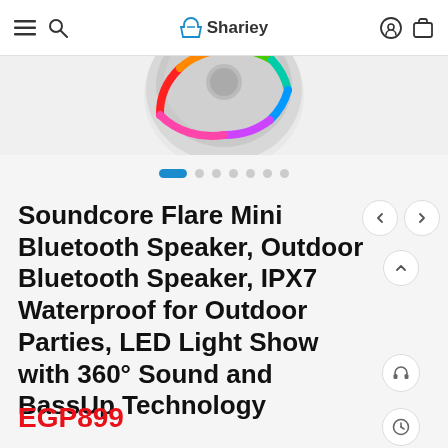Shariey
[Figure (photo): Soundcore Flare Mini Bluetooth Speaker product photo showing the speaker from above with colorful LED light ring (rainbow colors) on a light grey background.]
Soundcore Flare Mini Bluetooth Speaker, Outdoor Bluetooth Speaker, IPX7 Waterproof for Outdoor Parties, LED Light Show with 360° Sound and BassUp Technology
EGP899